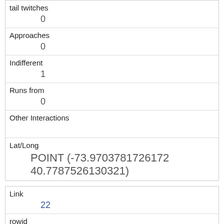| tail twitches | 0 |
| Approaches | 0 |
| Indifferent | 1 |
| Runs from | 0 |
| Other Interactions |  |
| Lat/Long | POINT (-73.9703781726172 40.7787526130321) |
| Link | 22 |
| rowid | 22 |
| longitude | -73.9703925210471 |
| latitude | 40.7765032004992 |